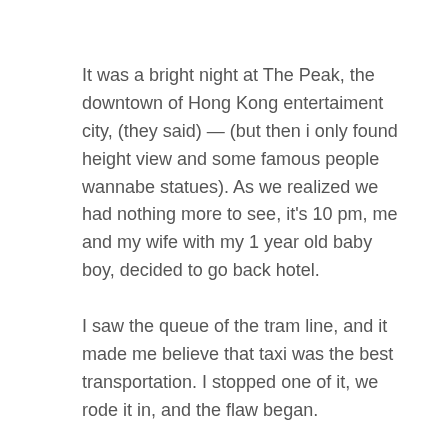It was a bright night at The Peak, the downtown of Hong Kong entertaiment city, (they said) — (but then i only found height view and some famous people wannabe statues). As we realized we had nothing more to see, it's 10 pm, me and my wife with my 1 year old baby boy, decided to go back hotel.
I saw the queue of the tram line, and it made me believe that taxi was the best transportation. I stopped one of it, we rode it in, and the flaw began.
At about 100 meters driving, the driver turned his taxi off. With very messy english, he remained that at that time we wouldn't get any taxi, so he offered us to continue going with HKD 300 (normal rate wouldn't be more than HKD 100) or looking for another taxi. I